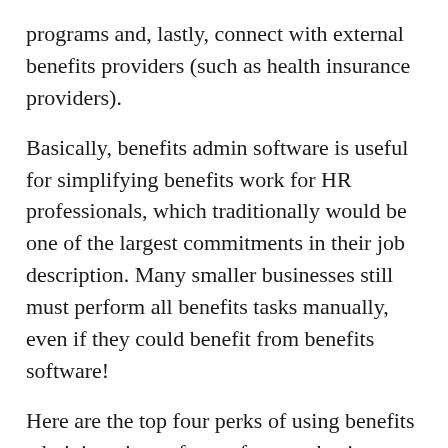programs and, lastly, connect with external benefits providers (such as health insurance providers).
Basically, benefits admin software is useful for simplifying benefits work for HR professionals, which traditionally would be one of the largest commitments in their job description. Many smaller businesses still must perform all benefits tasks manually, even if they could benefit from benefits software!
Here are the top four perks of using benefits administration software for your business:
1. Ease Your Workload
Although employees only spend 18 minutes on average enrolling in benefits programs, this can be much more